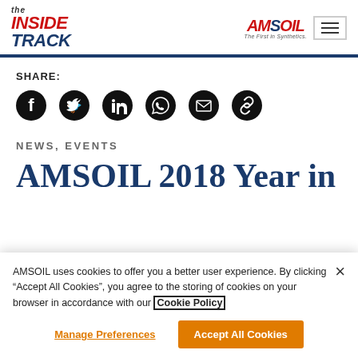the INSIDE TRACK | AMSOIL - The First in Synthetics
SHARE:
[Figure (other): Row of six social media share icons (Facebook, Twitter, LinkedIn, WhatsApp, Email, Copy Link) as dark circular buttons]
NEWS, EVENTS
AMSOIL 2018 Year in
AMSOIL uses cookies to offer you a better user experience. By clicking “Accept All Cookies”, you agree to the storing of cookies on your browser in accordance with our Cookie Policy.
Manage Preferences | Accept All Cookies